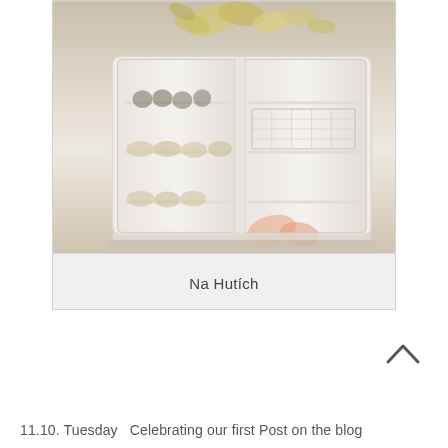[Figure (photo): Photo of a refrigerator/display case with glass shelving and bottles/rolls inside, with autumn leaves decoration visible at top. Caption bar below reads 'Na Hutích'.]
Na Hutích
11.10. Tuesday  Celebrating our first Post on the blog